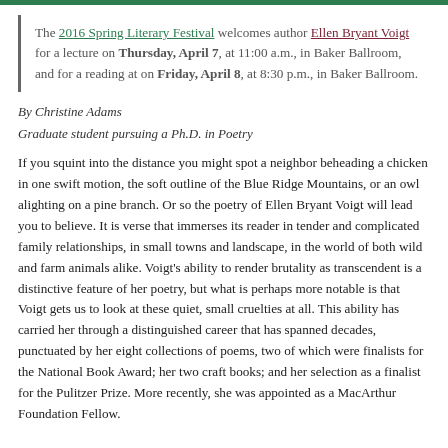The 2016 Spring Literary Festival welcomes author Ellen Bryant Voigt for a lecture on Thursday, April 7, at 11:00 a.m., in Baker Ballroom, and for a reading at on Friday, April 8, at 8:30 p.m., in Baker Ballroom.
By Christine Adams
Graduate student pursuing a Ph.D. in Poetry
If you squint into the distance you might spot a neighbor beheading a chicken in one swift motion, the soft outline of the Blue Ridge Mountains, or an owl alighting on a pine branch. Or so the poetry of Ellen Bryant Voigt will lead you to believe. It is verse that immerses its reader in tender and complicated family relationships, in small towns and landscape, in the world of both wild and farm animals alike. Voigt's ability to render brutality as transcendent is a distinctive feature of her poetry, but what is perhaps more notable is that Voigt gets us to look at these quiet, small cruelties at all. This ability has carried her through a distinguished career that has spanned decades, punctuated by her eight collections of poems, two of which were finalists for the National Book Award; her two craft books; and her selection as a finalist for the Pulitzer Prize. More recently, she was appointed as a MacArthur Foundation Fellow.